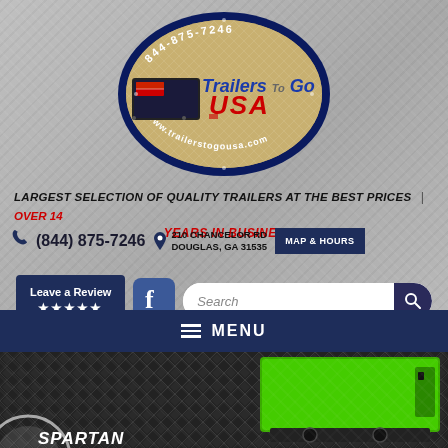[Figure (logo): Trailers To Go USA oval logo with dark blue border, showing a trailer image, 'Trailers To Go USA' text in blue and red, phone number 844-875-7246 at top, and www.trailerstogousa.com at bottom, on diamond plate background]
LARGEST SELECTION OF QUALITY TRAILERS AT THE BEST PRICES | OVER 14 YEARS IN BUSINESS!
(844) 875-7246
210 CHANCELOR RD DOUGLAS, GA 31535
MAP & HOURS
Leave a Review ★★★★★
Search
MENU
[Figure (photo): Bottom section showing dark diamond plate background with a bright green enclosed trailer visible on the right side, and partial Spartan logo text at bottom left]